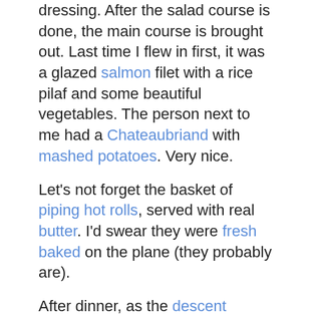dressing. After the salad course is done, the main course is brought out. Last time I flew in first, it was a glazed salmon filet with a rice pilaf and some beautiful vegetables. The person next to me had a Chateaubriand with mashed potatoes. Very nice.
Let's not forget the basket of piping hot rolls, served with real butter. I'd swear they were fresh baked on the plane (they probably are).
After dinner, as the descent begins, the flight attendant brings out a hot towel for you to freshen up before landing.
Once you try it, you can't blot the memory from your mind. Every time you fly coach, you're thinking